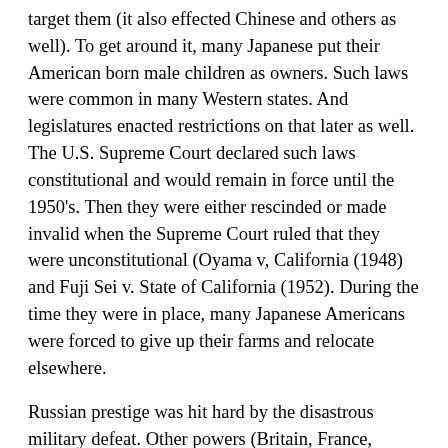target them (it also effected Chinese and others as well). To get around it, many Japanese put their American born male children as owners. Such laws were common in many Western states. And legislatures enacted restrictions on that later as well. The U.S. Supreme Court declared such laws constitutional and would remain in force until the 1950's. Then they were either rescinded or made invalid when the Supreme Court ruled that they were unconstitutional (Oyama v, California (1948) and Fuji Sei v. State of California (1952). During the time they were in place, many Japanese Americans were forced to give up their farms and relocate elsewhere.
Russian prestige was hit hard by the disastrous military defeat. Other powers (Britain, France, Germany and to a lesser extent the United States), no longer viewed Russia as a strong military power. Russia was already considered a backward country where much of its population was agrarian with a thin industrial strata of industrial workers. They had serfdom-